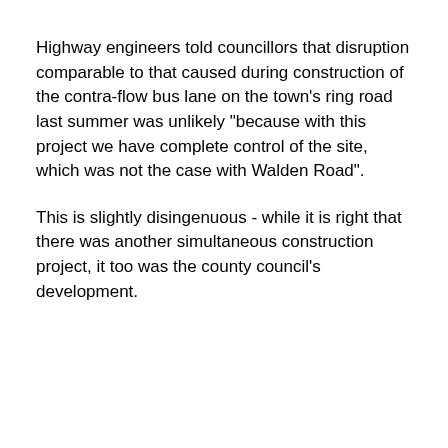Highway engineers told councillors that disruption comparable to that caused during construction of the contra-flow bus lane on the town's ring road last summer was unlikely "because with this project we have complete control of the site, which was not the case with Walden Road".
This is slightly disingenuous - while it is right that there was another simultaneous construction project, it too was the county council's development.